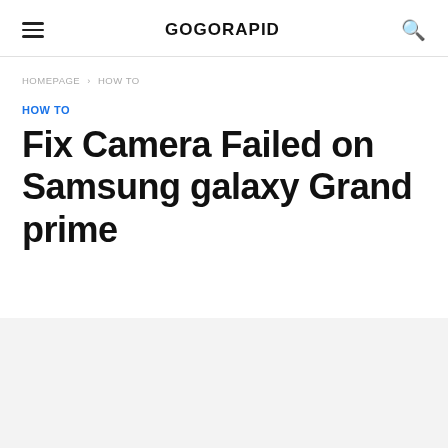GOGORAPID
HOMEPAGE > HOW TO
HOW TO
Fix Camera Failed on Samsung galaxy Grand prime